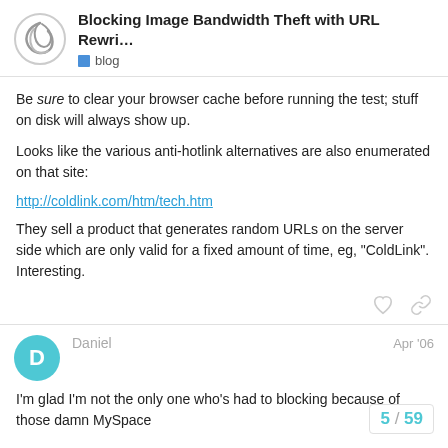Blocking Image Bandwidth Theft with URL Rewri... | blog
Be sure to clear your browser cache before running the test; stuff on disk will always show up.
Looks like the various anti-hotlink alternatives are also enumerated on that site:
http://coldlink.com/htm/tech.htm
They sell a product that generates random URLs on the server side which are only valid for a fixed amount of time, eg, “ColdLink”. Interesting.
Daniel | Apr '06
I'm glad I'm not the only one who's had to blocking because of those damn MySpace
5 / 59